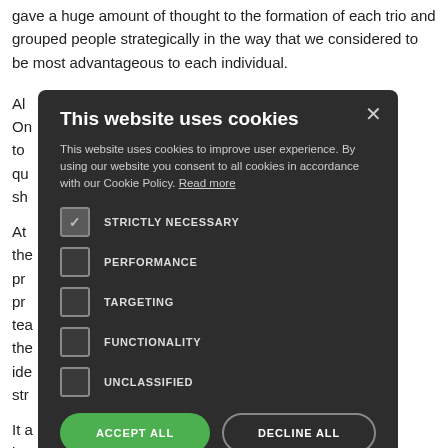gave a huge amount of thought to the formation of each trio and grouped people strategically in the way that we considered to be most advantageous to each individual.
[Figure (screenshot): Cookie consent modal dialog overlaying a webpage. The modal has a dark background and contains the title 'This website uses cookies', explanatory text about cookie usage, checkboxes for STRICTLY NECESSARY (checked), PERFORMANCE, TARGETING, FUNCTIONALITY, UNCLASSIFIED, and two buttons: ACCEPT ALL (green) and DECLINE ALL (outlined). Below buttons is a SHOW DETAILS option with a gear icon.]
All [text obscured] 30 to 10:30am). On [text obscured] r has half an hour to [text obscured] ey coaching qu [text obscured] iscussion (prompt sh [text obscured]
At [text obscured] the observer and the [text obscured] gain there is a pr [text obscured] mportant part of the pr [text obscured] space where the tea [text obscured] ion that as part of the [text obscured] sheet. This ide [text obscured] t as well the key str [text obscured]
It a [text obscured] ess of the session, bo [text obscured] eachers and the benefit to the school more generally.